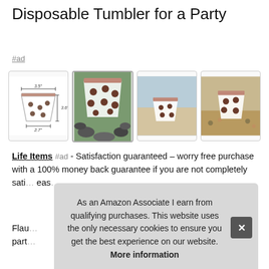Disposable Tumbler for a Party
#ad
[Figure (photo): Four product images of a polka-dot disposable tumbler: a line drawing with dimensions (3.5" width, 3.6" height), a photo on pebbles, a photo outdoors with snacks, and a photo with trail mix.]
Life Items #ad - Satisfaction guaranteed – worry free purchase with a 100% money back guarantee if you are not completely sati… eas…
Flau… part…
As an Amazon Associate I earn from qualifying purchases. This website uses the only necessary cookies to ensure you get the best experience on our website. More information